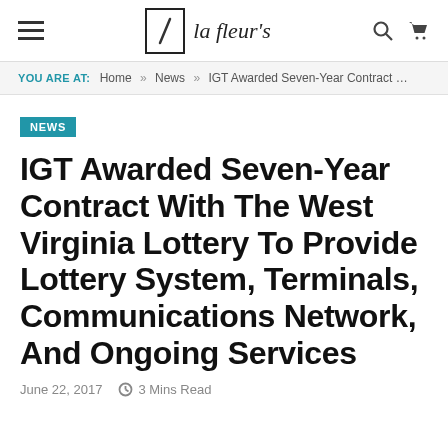la fleur's
YOU ARE AT: Home » News » IGT Awarded Seven-Year Contract …
NEWS
IGT Awarded Seven-Year Contract With The West Virginia Lottery To Provide Lottery System, Terminals, Communications Network, And Ongoing Services
June 22, 2017   3 Mins Read